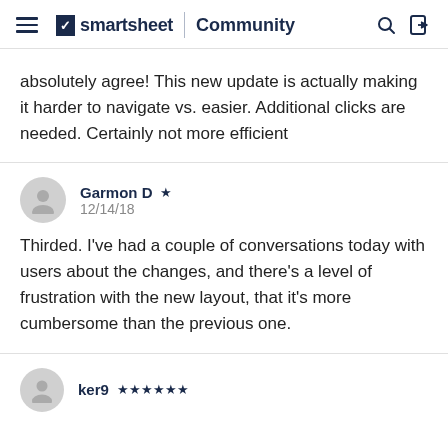smartsheet Community
absolutely agree!  This new update is actually making it harder to navigate vs. easier.  Additional clicks are needed.  Certainly not more efficient
Garmon D ★ 12/14/18
Thirded. I've had a couple of conversations today with users about the changes, and there's a level of frustration with the new layout, that it's more cumbersome than the previous one.
ker9 ★★★★★★